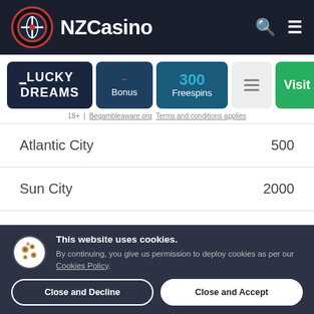[Figure (logo): NZCasino website header with logo icon and site name]
[Figure (screenshot): Lucky Dreams casino card row with Bonus, 300 Freespins, menu icon, and Visit button]
18+ | Begambleaware.org Terms and conditions applies
| Location | Value |
| --- | --- |
| Atlantic City | 500 |
| Sun City | 2000 |
| Melbourne | 4,000 |
| Venice (partial) | 10,000+ |
This website uses cookies. By continuing, you give us permission to deploy cookies as per our Cookies Policy.
Close and Decline
Close and Accept